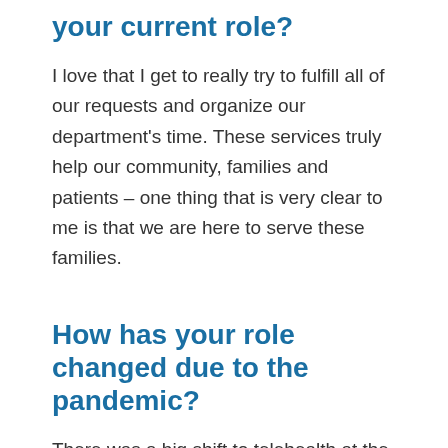your current role?
I love that I get to really try to fulfill all of our requests and organize our department's time. These services truly help our community, families and patients – one thing that is very clear to me is that we are here to serve these families.
How has your role changed due to the pandemic?
There was a big shift to telehealth at the start of the pandemic, so a lot of requests have become virtual. During a telehealth